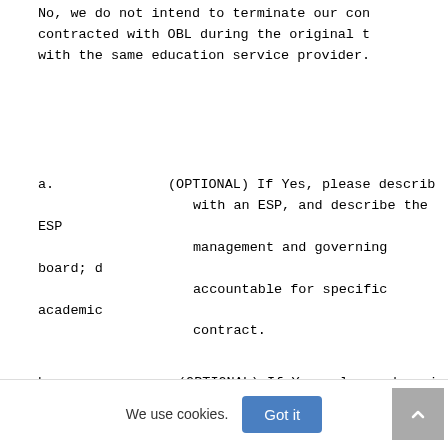No, we do not intend to terminate our con contracted with OBL during the original t with the same education service provider.
a.     (OPTIONAL) If Yes, please describ with an ESP, and describe the ESP management and governing board; d accountable for specific academic contract.
b.      (OPTIONAL) If Yes, please descri over the next charter term, inclu contractual relationship with you detail the plans for carrying out the service provider had been res The Board is not anticipating any signifi charter term.
We use cookies.